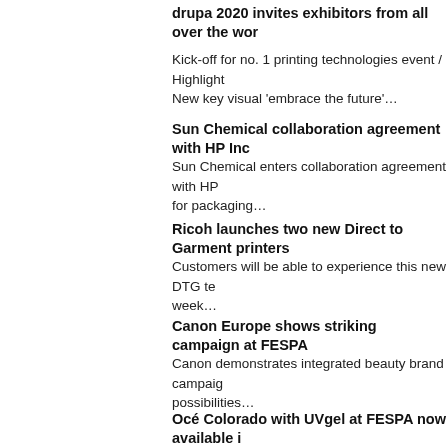drupa 2020 invites exhibitors from all over the wor…
Kick-off for no. 1 printing technologies event / Highlight… New key visual 'embrace the future'…
Sun Chemical collaboration agreement with HP Inc…
Sun Chemical enters collaboration agreement with HP… for packaging…
Ricoh launches two new Direct to Garment printers…
Customers will be able to experience this new DTG te… week…
Canon Europe shows striking campaign at FESPA…
Canon demonstrates integrated beauty brand campaig… possibilities…
Océ Colorado with UVgel at FESPA now available i…
Canon Europe sees immediate market impact of Cano… Colorado's March launch…
EFI fuelling customer success at FESPA in Hambu…